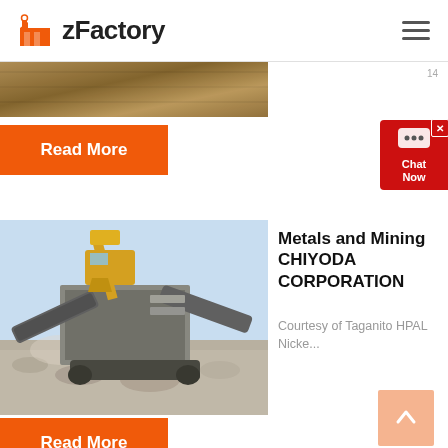zFactory
[Figure (photo): Partial top image strip showing sandy/earth terrain texture]
Read More
[Figure (screenshot): Chat Now widget popup in red]
[Figure (photo): Mining equipment - excavator and crushing machinery at a mining site with gravel and sky background]
Metals and Mining CHIYODA CORPORATION
Courtesy of Taganito HPAL Nicke...
Read More